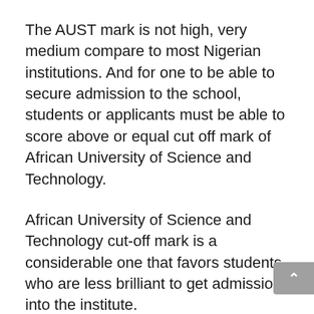The AUST mark is not high, very medium compare to most Nigerian institutions. And for one to be able to secure admission to the school, students or applicants must be able to score above or equal cut off mark of African University of Science and Technology.
African University of Science and Technology cut-off mark is a considerable one that favors students who are less brilliant to get admission into the institute.